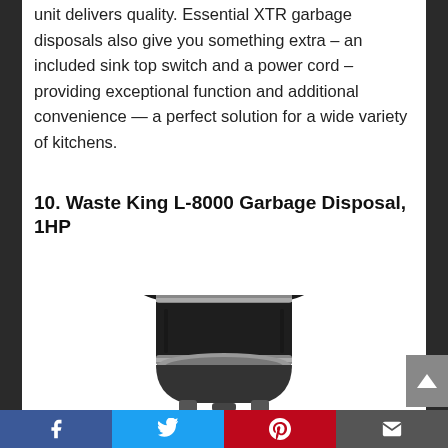unit delivers quality. Essential XTR garbage disposals also give you something extra – an included sink top switch and a power cord – providing exceptional function and additional convenience — a perfect solution for a wide variety of kitchens.
10. Waste King L-8000 Garbage Disposal, 1HP
[Figure (photo): Photograph of the Waste King L-8000 Garbage Disposal unit, showing the top mounting ring and body of the disposal unit in black and silver/chrome finish.]